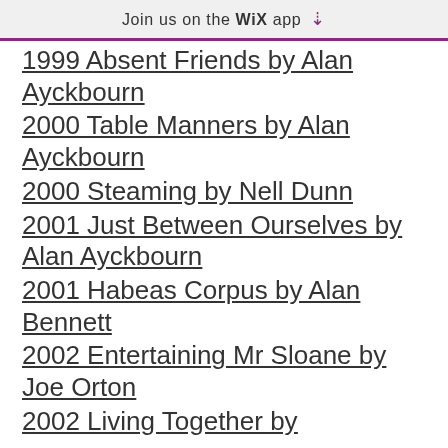Join us on the WiX app ↓
1999 Absent Friends by Alan Ayckbourn
2000 Table Manners by Alan Ayckbourn
2000 Steaming by Nell Dunn
2001 Just Between Ourselves by Alan Ayckbourn
2001 Habeas Corpus by Alan Bennett
2002 Entertaining Mr Sloane by Joe Orton
2002 Living Together by